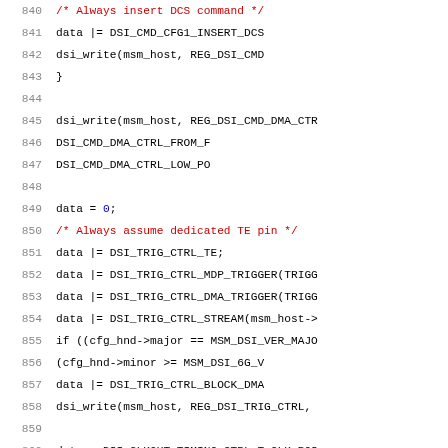[Figure (screenshot): Source code listing showing C code for DSI (Display Serial Interface) driver, lines 840-861, with line numbers on left, code on right. Comments in red, numeric literals in blue, rest in black monospace font.]